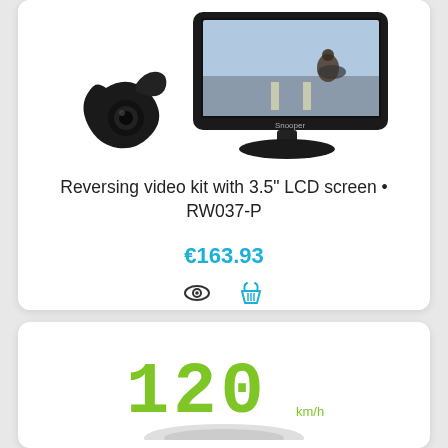[Figure (photo): Product photo showing a reversing camera (small black wedge-shaped camera on left) and a 3.5 inch LCD monitor (black monitor showing a motorcyclist on road) on white background]
Reversing video kit with 3.5" LCD screen • RW037-P
€163.93
[Figure (photo): Partial product photo showing a digital speedometer display showing 120 km/h in green LED-style digits, with a metallic/grey gauge base visible at the bottom]